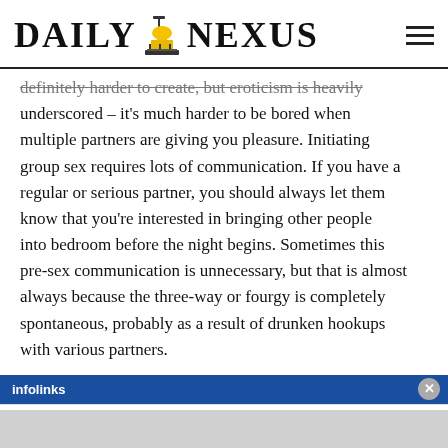DAILY NEXUS
definitely harder to create, but eroticism is heavily underscored – it's much harder to be bored when multiple partners are giving you pleasure. Initiating group sex requires lots of communication. If you have a regular or serious partner, you should always let them know that you're interested in bringing other people into bedroom before the night begins. Sometimes this pre-sex communication is unnecessary, but that is almost always because the three-way or fourgy is completely spontaneous, probably as a result of drunken hookups with various partners.
infolinks